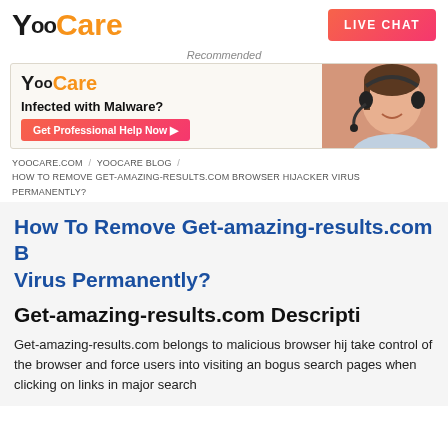[Figure (logo): YooCare logo with stylized Y-oo in black and Care in orange]
[Figure (other): LIVE CHAT button with pink-red gradient]
Recommended
[Figure (screenshot): YooCare advertisement banner: Infected with Malware? Get Professional Help Now button, with photo of woman with headset]
YOOCARE.COM / YOOCARE BLOG / HOW TO REMOVE GET-AMAZING-RESULTS.COM BROWSER HIJACKER VIRUS PERMANENTLY?
How To Remove Get-amazing-results.com Browser Hijacker Virus Permanently?
Get-amazing-results.com Description
Get-amazing-results.com belongs to malicious browser hijacker that take control of the browser and force users into visiting and bogus search pages when clicking on links in major search